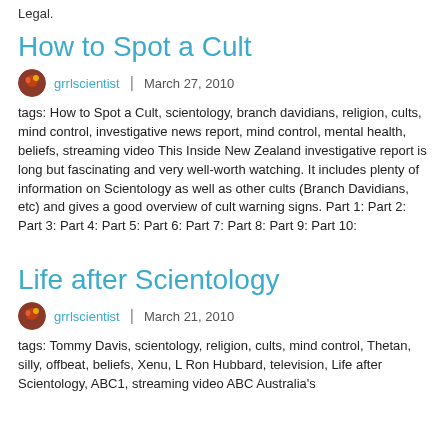Legal.
How to Spot a Cult
grrlscientist  |  March 27, 2010
tags: How to Spot a Cult, scientology, branch davidians, religion, cults, mind control, investigative news report, mind control, mental health, beliefs, streaming video This Inside New Zealand investigative report is long but fascinating and very well-worth watching. It includes plenty of information on Scientology as well as other cults (Branch Davidians, etc) and gives a good overview of cult warning signs. Part 1: Part 2: Part 3: Part 4: Part 5: Part 6: Part 7: Part 8: Part 9: Part 10:
Life after Scientology
grrlscientist  |  March 21, 2010
tags: Tommy Davis, scientology, religion, cults, mind control, Thetan, silly, offbeat, beliefs, Xenu, L Ron Hubbard, television, Life after Scientology, ABC1, streaming video ABC Australia's